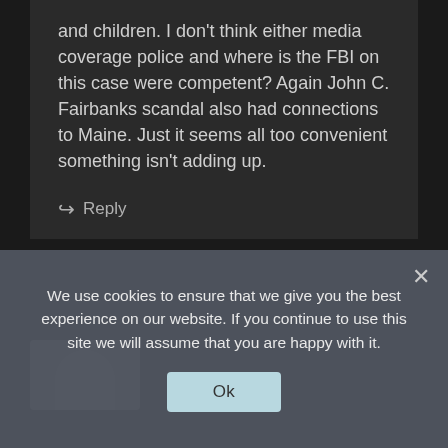and children. I don't think either media coverage police and where is the FBI on this case were competent? Again John C. Fairbanks scandal also had connections to Maine. Just it seems all too convenient something isn't adding up.
↪ Reply
[Figure (other): User avatar placeholder - grey rounded rectangle with circular head silhouette]
We use cookies to ensure that we give you the best experience on our website. If you continue to use this site we will assume that you are happy with it.
Ok